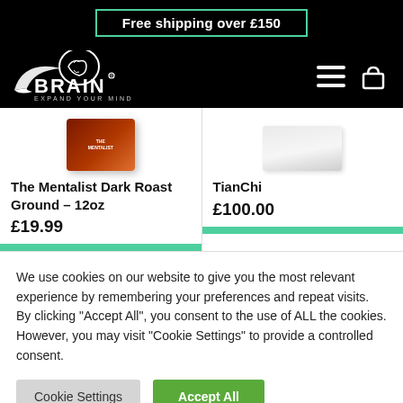Free shipping over £150
[Figure (logo): XBrain 'Expand Your Mind' logo with brain icon, white on black background]
[Figure (photo): The Mentalist Dark Roast Ground coffee product packaging, 12oz]
The Mentalist Dark Roast Ground – 12oz
£19.99
[Figure (photo): TianChi product packaging, white box]
TianChi
£100.00
We use cookies on our website to give you the most relevant experience by remembering your preferences and repeat visits. By clicking "Accept All", you consent to the use of ALL the cookies. However, you may visit "Cookie Settings" to provide a controlled consent.